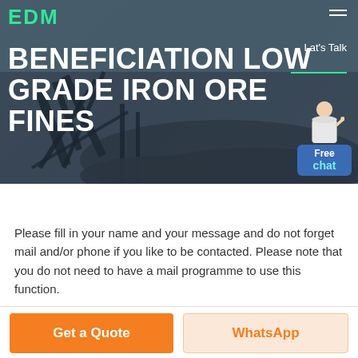[Figure (screenshot): Hero banner with industrial machinery/mining equipment background in dark blue-grey tone, showing logo 'EDM' in green, 'Let's Talk' text, navigation hamburger, green underline, and a chat widget with avatar and Free chat button]
BENEFICIATION LOW GRADE IRON ORE FINES
Please fill in your name and your message and do not forget mail and/or phone if you like to be contacted. Please note that you do not need to have a mail programme to use this function.
Get a Quote
WhatsApp